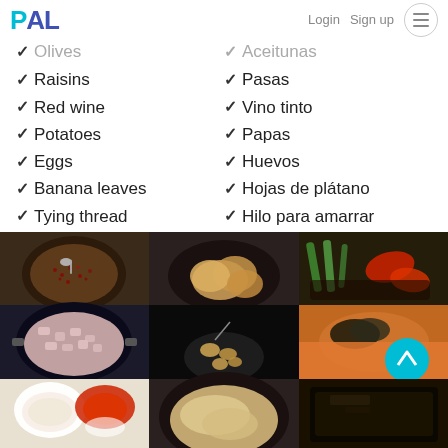PAL — Login  Sign up
✓ Olives / ✓ Aceitunas
✓ Raisins / ✓ Pasas
✓ Red wine / ✓ Vino tinto
✓ Potatoes / ✓ Papas
✓ Eggs / ✓ Huevos
✓ Banana leaves / ✓ Hojas de plátano
✓ Tying thread / ✓ Hilo para amarrar
[Figure (photo): 3x3 grid of food preparation photos showing ingredients and cooking steps including grains/seeds in a bowl, mushrooms/potatoes, vegetables, chopped meat, nuts, cooked dish, sauces, dough/flatbread, and wrapped/dark food item]